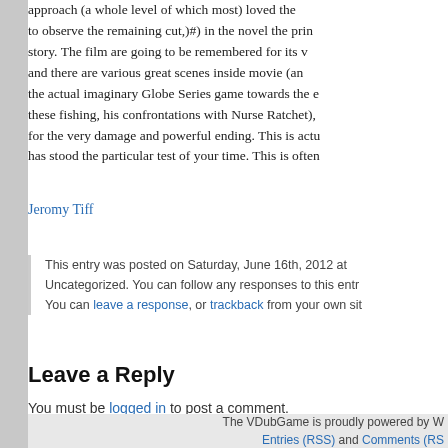approach (a whole level of which most) loved the to observe the remaining cut,)#) in the novel the primary story. The film are going to be remembered for its v and there are various great scenes inside movie (ar the actual imaginary Globe Series game towards the e these fishing, his confrontations with Nurse Ratchet), for the very damage and powerful ending. This is actu has stood the particular test of your time. This is often
Jeromy Tiff
This entry was posted on Saturday, June 16th, 2012 at Uncategorized. You can follow any responses to this entr You can leave a response, or trackback from your own sit
Leave a Reply
You must be logged in to post a comment.
The VDubGame is proudly powered by W Entries (RSS) and Comments (RS